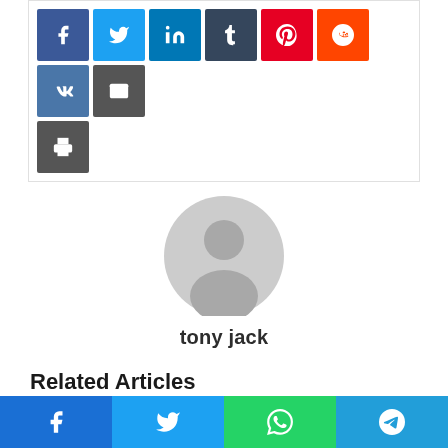[Figure (infographic): Social share buttons row: Facebook (blue), Twitter (light blue), LinkedIn (blue), Tumblr (dark blue), Pinterest (red), Reddit (orange-red), VK (slate blue), Email (dark gray), Print (dark gray)]
[Figure (photo): Generic user avatar: gray circle with silhouette of a person (head and shoulders)]
tony jack
Related Articles
[Figure (infographic): Bottom share bar with four buttons: Facebook (blue), Twitter (light blue), WhatsApp (green), Telegram (blue)]